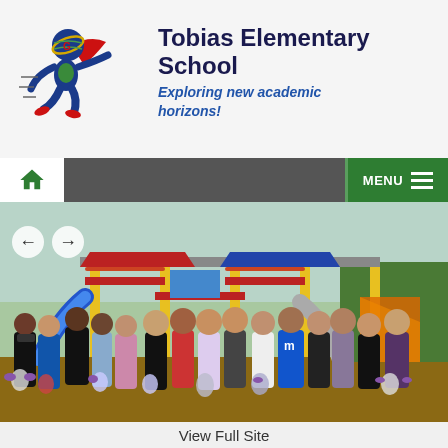[Figure (logo): Tobias Elementary School mascot: a blue superhero character with a red cape running, holding a globe-like head]
Tobias Elementary School
Exploring new academic horizons!
[Figure (screenshot): Website navigation bar with home icon on left, dark grey center, and MENU with hamburger icon on right, all on green background]
[Figure (photo): Group of elementary school children standing in front of a colorful playground structure with slides. Children are wearing masks and holding bags with blue gloves.]
View Full Site